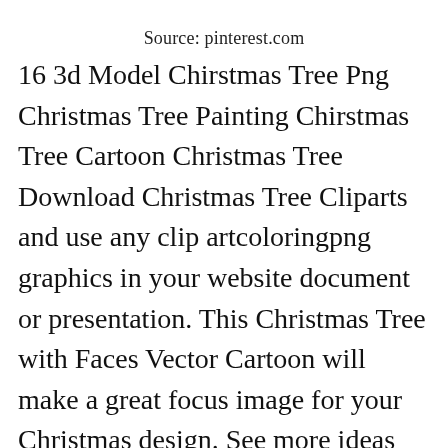Source: pinterest.com
16 3d Model Chirstmas Tree Png Christmas Tree Painting Chirstmas Tree Cartoon Christmas Tree Download Christmas Tree Cliparts and use any clip artcoloringpng graphics in your website document or presentation. This Christmas Tree with Faces Vector Cartoon will make a great focus image for your Christmas design. See more ideas about christmas tree clipart christmas christmas [close icon]t. Animated